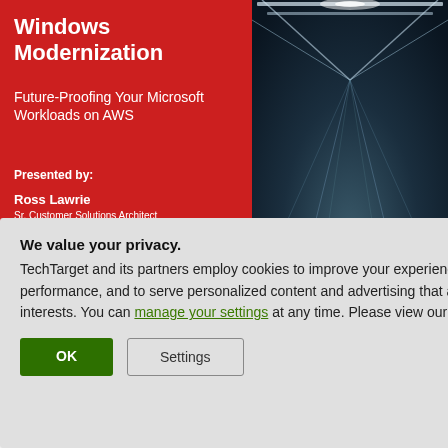[Figure (screenshot): Presentation slide cover with red left panel showing title 'Windows Modernization – Future-Proofing Your Microsoft Workloads on AWS' and presenter info, with a dark tunnel photo on the right side]
Windows Modernization
Future-Proofing Your Microsoft Workloads on AWS
Presented by:
Ross Lawrie
Sr. Customer Solutions Architect
Onica, a Rackspace Technology Company
Sanjay Gulati
t Rackspace
ect at AWS
We value your privacy.
TechTarget and its partners employ cookies to improve your experience on our site, to analyze traffic and performance, and to serve personalized content and advertising that are relevant to your professional interests. You can manage your settings at any time. Please view our Privacy Policy for more information
OK
Settings